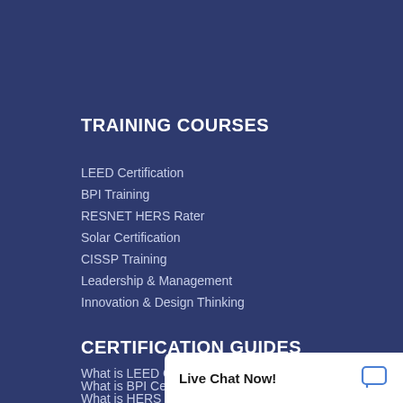TRAINING COURSES
LEED Certification
BPI Training
RESNET HERS Rater
Solar Certification
CISSP Training
Leadership & Management
Innovation & Design Thinking
CERTIFICATION GUIDES
What is LEED Certification?
What is BPI Certification?
What is HERS Rater Tra...
What is Solar Training?
Live Chat Now!